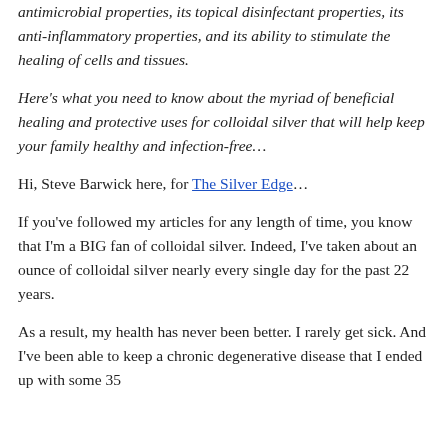antimicrobial properties, its topical disinfectant properties, its anti-inflammatory properties, and its ability to stimulate the healing of cells and tissues.
Here's what you need to know about the myriad of beneficial healing and protective uses for colloidal silver that will help keep your family healthy and infection-free…
Hi, Steve Barwick here, for The Silver Edge…
If you've followed my articles for any length of time, you know that I'm a BIG fan of colloidal silver. Indeed, I've taken about an ounce of colloidal silver nearly every single day for the past 22 years.
As a result, my health has never been better. I rarely get sick. And I've been able to keep a chronic degenerative disease that I ended up with some 35